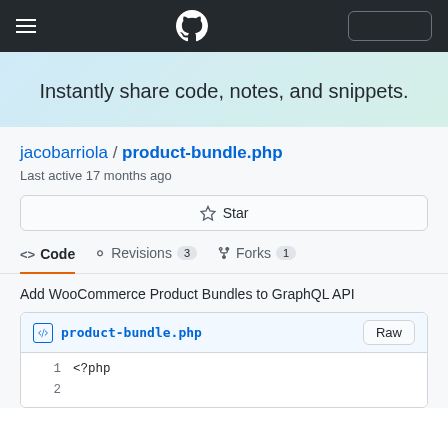GitHub navigation bar with hamburger menu, GitHub logo, and sign-in button
Instantly share code, notes, and snippets.
jacobarriola / product-bundle.php
Last active 17 months ago
Star
<> Code   -O- Revisions 3   Forks 1
Add WooCommerce Product Bundles to GraphQL API
product-bundle.php   Raw
1   <?php
2